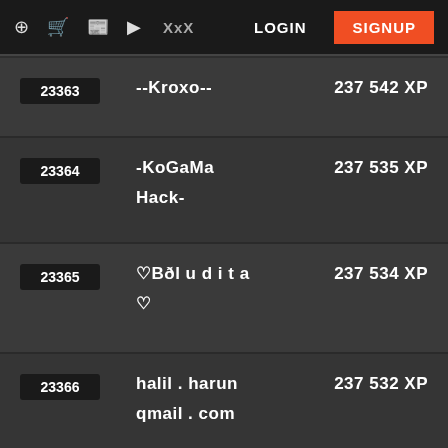LOGIN  SIGNUP
| Rank | Username | XP |
| --- | --- | --- |
| 23363 | --Kroxo-- | 237 542 XP |
| 23364 | -KoGaMa Hack- | 237 535 XP |
| 23365 | ♡Bðludita♡ | 237 534 XP |
| 23366 | halil . harun qmail . com | 237 532 XP |